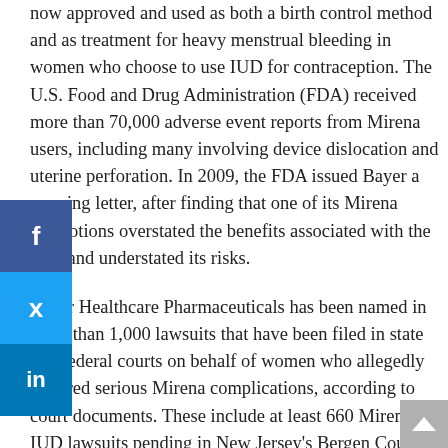now approved and used as both a birth control method and as treatment for heavy menstrual bleeding in women who choose to use IUD for contraception. The U.S. Food and Drug Administration (FDA) received more than 70,000 adverse event reports from Mirena users, including many involving device dislocation and uterine perforation. In 2009, the FDA issued Bayer a warning letter, after finding that one of its Mirena promotions overstated the benefits associated with the IUD and understated its risks.
Bayer Healthcare Pharmaceuticals has been named in more than 1,000 lawsuits that have been filed in state and federal courts on behalf of women who allegedly suffered serious Mirena complications, according to court documents. These include at least 660 Mirena IUD lawsuits pending in New Jersey's Bergen County Superior Court. Another 428 claims have been filed in a federal multidistrict litigation underway in U.S. District Court,